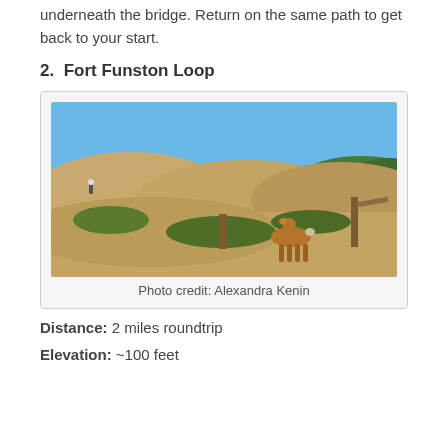underneath the bridge. Return on the same path to get back to your start.
2.  Fort Funston Loop
[Figure (photo): Outdoor photo of sandy coastal dunes with low shrubs, a deer standing on a path, and the ocean visible in the background under a clear blue sky. A wooden fence/post is on the right.]
Photo credit: Alexandra Kenin
Distance: 2 miles roundtrip
Elevation: ~100 feet